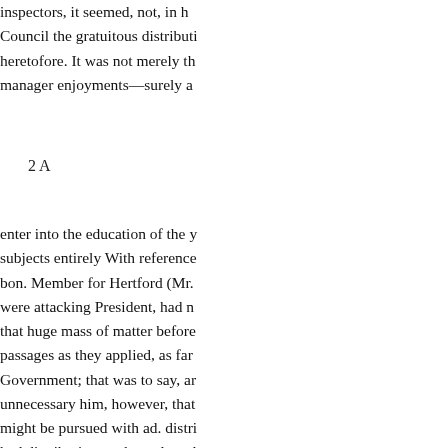inspectors, it seemed, not, in h Council the gratuitous distributi heretofore. It was not merely th manager enjoyments—surely a
2 A
enter into the education of the y subjects entirely With reference bon. Member for Hertford (Mr. were attacking President, had n that huge mass of matter before passages as they applied, as far Government; that was to say, ar unnecessary him, however, that might be pursued with ad. distri had distribution, and to sales wh commanded, he hoped that wha The diminupleased, require ther under separate heads, with such might Everybody felt that it wa ungarbled views of the stead of Parliament, persist in writing vo variety of subjects, why should them, " Gentlemen, you give th